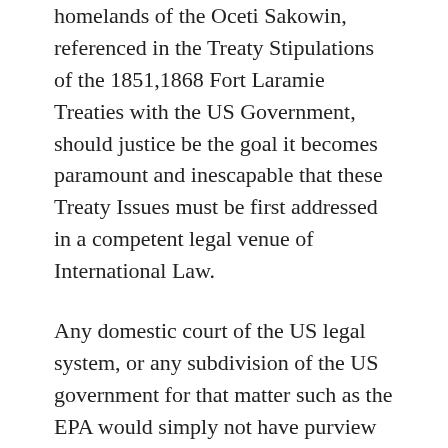homelands of the Oceti Sakowin, referenced in the Treaty Stipulations of the 1851,1868 Fort Laramie Treaties with the US Government, should justice be the goal it becomes paramount and inescapable that these Treaty Issues must be first addressed in a competent legal venue of International Law.
Any domestic court of the US legal system, or any subdivision of the US government for that matter such as the EPA would simply not have purview over these international issues, as they lie completely within the realm of International Law, and therefore until the 1851, 1868 Fort Laramie Treaties are integrated into the global framework of International Law of Treaties and